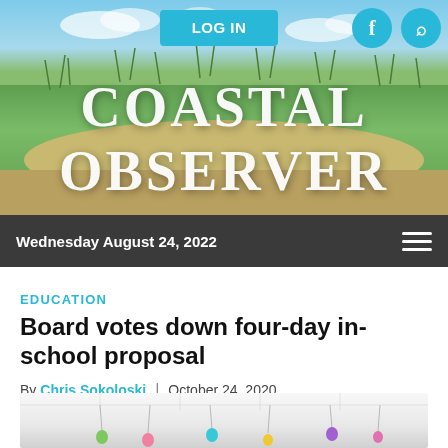[Figure (photo): Coastal Observer website header banner with beach/dune landscape photo background, turquoise LOG IN button, Facebook and search icons]
COASTAL OBSERVER
Wednesday August 24, 2022
EDUCATION
Board votes down four-day in-school proposal
By Chris Sokoloski | October 24, 2020
[Figure (photo): Classroom interior with colorful balloons hanging from ceiling]